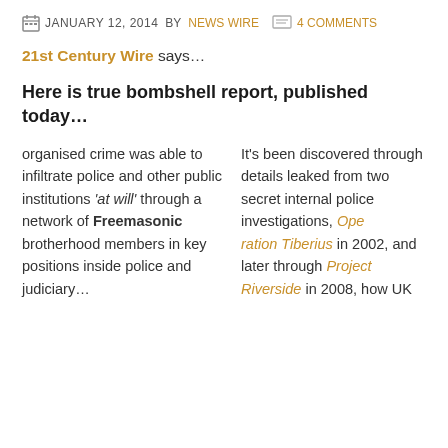JANUARY 12, 2014 BY NEWS WIRE  4 COMMENTS
21st Century Wire says…
Here is true bombshell report, published today…
It's been discovered through details leaked from two secret internal police investigations, Operation Tiberius in 2002, and later through Project Riverside in 2008, how UK organised crime was able to infiltrate police and other public institutions 'at will' through a network of Freemasonic brotherhood members in key positions inside police and judiciary…